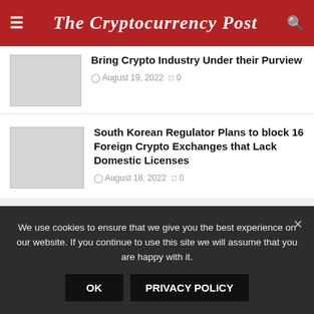The Cryptocurrency Post
Bring Crypto Industry Under their Purview
August 19, 2022  0
South Korean Regulator Plans to block 16 Foreign Crypto Exchanges that Lack Domestic Licenses
August 18, 2022  0
[Figure (other): Ad banner placeholder]
We use cookies to ensure that we give you the best experience on our website. If you continue to use this site we will assume that you are happy with it.